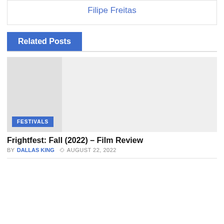Filipe Freitas
Related Posts
[Figure (photo): Placeholder image for a related post with a blue FESTIVALS category badge]
Frightfest: Fall (2022) – Film Review
BY DALLAS KING  AUGUST 22, 2022